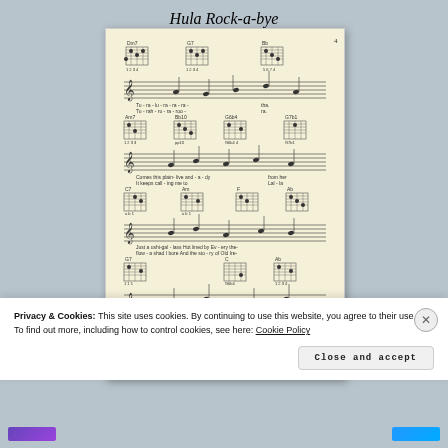Hula Rock-a-bye
[Figure (other): Sheet music page for 'Hula Rock-a-bye' showing ukulele chord diagrams and musical notation with lyrics across multiple staves. Chords shown include Dm7, G7, Bb, Am7, Bb10, G7, G6b4, G7b1, C7, Am, Ab, Eb, G7, C, Ab and others. Lyrics visible include 'Tu-ra-lu-ra-ra-ra-tha', 'Comes this plain-five and-a-dy from her', 'keeps call-ing me to you, Lal-la', 'just as ushi-gal-loos Hot lined by Ev-ery', 'And the sto-ry of Old Ire-', 'mai-lau Hu-la Rock-a-bye' across multiple verses.]
Privacy & Cookies: This site uses cookies. By continuing to use this website, you agree to their use.
To find out more, including how to control cookies, see here: Cookie Policy
Close and accept